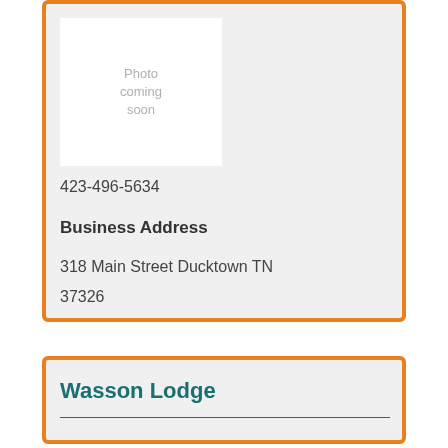[Figure (photo): Photo placeholder box with text 'Photo coming soon']
423-496-5634
Business Address
318 Main Street Ducktown TN
37326
Wasson Lodge